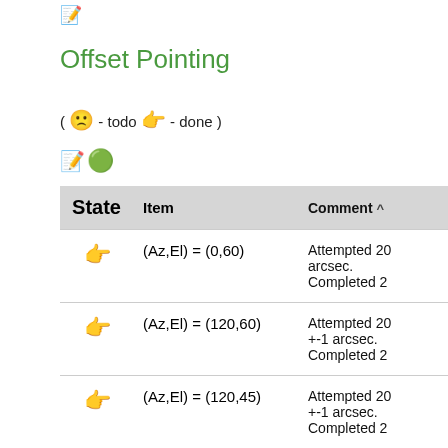[Figure (other): Edit icon (pencil/paper emoji) in top left area]
Offset Pointing
( 🙁 - todo 👉 - done )
[Figure (other): Edit and add icons (pencil and green plus)]
| State | Item | Comment ^ |
| --- | --- | --- |
| 👉 | (Az,El) = (0,60) | Attempted 20... arcsec. Completed 2... |
| 👉 | (Az,El) = (120,60) | Attempted 20... +-1 arcsec. Completed 2... |
| 👉 | (Az,El) = (120,45) | Attempted 20... +-1 arcsec. Completed 2... |
| 👉 | (Az,El) = (180,60) | Attempted 20... star in group... |